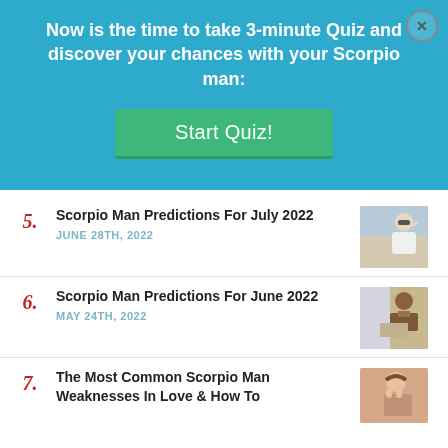Now is the time to take 3-minute Quiz and discover your chances with your Scorpio man:
Start Quiz!
Scorpio Man Predictions For July 2022 — JUNE 28TH, 2022
Scorpio Man Predictions For June 2022 — MAY 24TH, 2022
The Most Common Scorpio Man Weaknesses In Love & How To